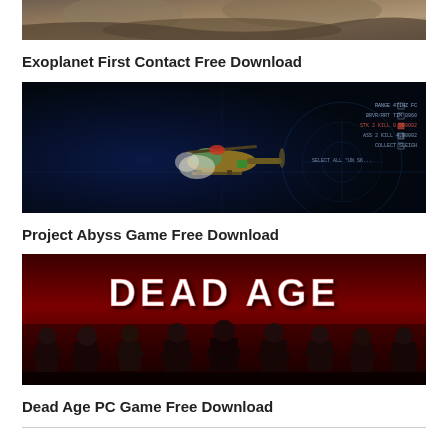[Figure (screenshot): Exoplanet First Contact game screenshot showing a dusty landscape]
Exoplanet First Contact Free Download
[Figure (screenshot): Project Abyss game screenshot showing a helicopter-like vehicle on a dark blue background with HUD elements]
Project Abyss Game Free Download
[Figure (screenshot): Dead Age PC game banner with red background showing zombie survivors and DEAD AGE title text]
Dead Age PC Game Free Download